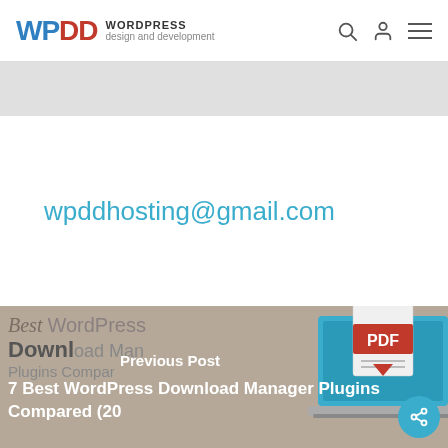WPDD WORDPRESS design and development
wpddhosting@gmail.com
[Figure (screenshot): Previous Post section with tan background showing a laptop with PDF icon. Title: 7 Best WordPress Download Manager Plugins Compared (20...)]
Previous Post
7 Best WordPress Download Manager Plugins Compared (20